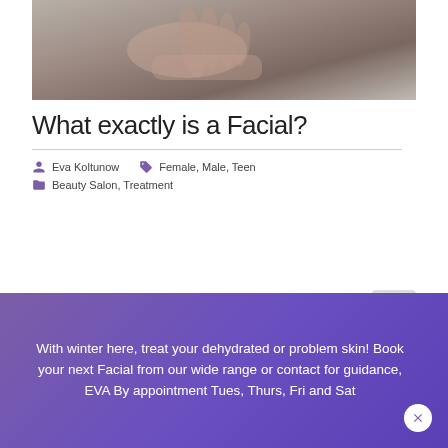[Figure (photo): Close-up photo of hands touching skin, dark and muted tones with gray/beige background]
What exactly is a Facial?
Eva Koltunow   Female, Male, Teen
Beauty Salon, Treatment
At FACETS
With winter here, treat your dehydrated or problem skin! Book your next Facial from our wide range or contact for guidance, EVA By appointment Tues, Thurs, Fri and Sat